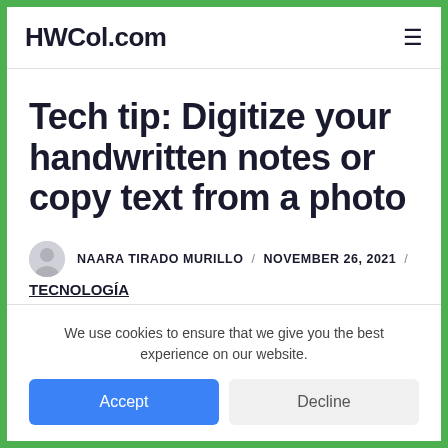HWCol.com
Tech tip: Digitize your handwritten notes or copy text from a photo
NAARA TIRADO MURILLO / NOVEMBER 26, 2021 / TECNOLOGÍA
We use cookies to ensure that we give you the best experience on our website.
Accept | Decline